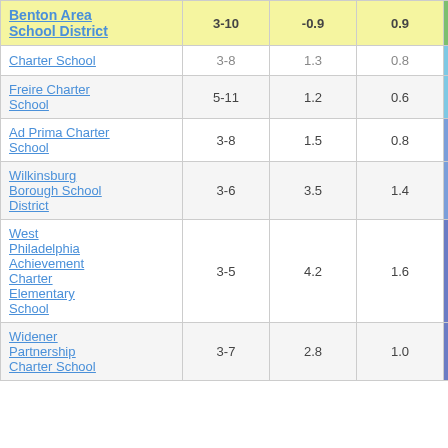| School/District | Grades | Col3 | Col4 | Score |
| --- | --- | --- | --- | --- |
| Benton Area School District | 3-10 | -0.9 | 0.9 | -0.98 |
| Charter School | 3-8 | 1.3 | 0.8 | 1.65 |
| Freire Charter School | 5-11 | 1.2 | 0.6 | 1.92 |
| Ad Prima Charter School | 3-8 | 1.5 | 0.8 | 2.00 |
| Wilkinsburg Borough School District | 3-6 | 3.5 | 1.4 | 2.53 |
| West Philadelphia Achievement Charter Elementary School | 3-5 | 4.2 | 1.6 | 2.63 |
| Widener Partnership Charter School | 3-7 | 2.8 | 1.0 | 2.65 |